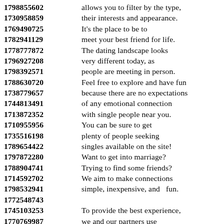1798855602 allows you to filter by the type,
1730958859 their interests and appearance.
1769490725 It's the place to be to
1782941129 meet your best friend for life.
1778777872 The dating landscape looks
1796927208 very different today, as
1798392571 people are meeting in person.
1788630720 Feel free to explore and have fun
1738779657 because there are no expectations
1744813491 of any emotional connection
1713872352 with single people near you.
1710955956 You can be sure to get
1735516198 plenty of people seeking
1789654422 singles available on the site!
1797872280 Want to get into marriage?
1788904741 Trying to find some friends?
1714592702 We aim to make connections
1798532941 simple, inexpensive, and fun.
1772548743
1745103253 To provide the best experience,
1770769987 we and our partners use
1789499136 technologies to make sure our
1731755757 system works as expected,
1787136197 to improve your experience
1743841813 and direct marketing efforts